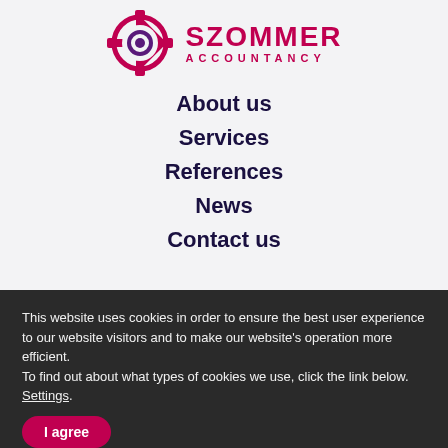[Figure (logo): Szommer Accountancy logo: gear/cogwheel icon in dark red/crimson with a purple circle eye in center, and SZOMMER ACCOUNTANCY text in dark red/crimson]
About us
Services
References
News
Contact us
This website uses cookies in order to ensure the best user experience to our website visitors and to make our website's operation more efficient.
To find out about what types of cookies we use, click the link below. Settings.
I agree